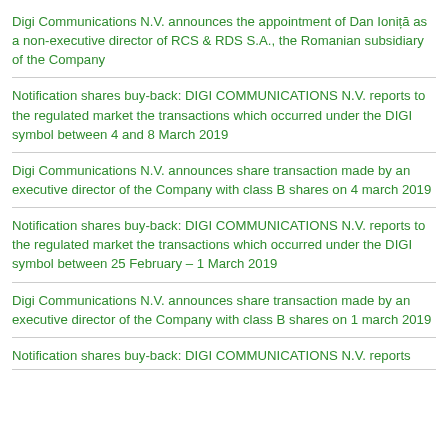Digi Communications N.V. announces the appointment of Dan Ioniță as a non-executive director of RCS & RDS S.A., the Romanian subsidiary of the Company
Notification shares buy-back: DIGI COMMUNICATIONS N.V. reports to the regulated market the transactions which occurred under the DIGI symbol between 4 and 8 March 2019
Digi Communications N.V. announces share transaction made by an executive director of the Company with class B shares on 4 march 2019
Notification shares buy-back: DIGI COMMUNICATIONS N.V. reports to the regulated market the transactions which occurred under the DIGI symbol between 25 February – 1 March 2019
Digi Communications N.V. announces share transaction made by an executive director of the Company with class B shares on 1 march 2019
Notification shares buy-back: DIGI COMMUNICATIONS N.V. reports